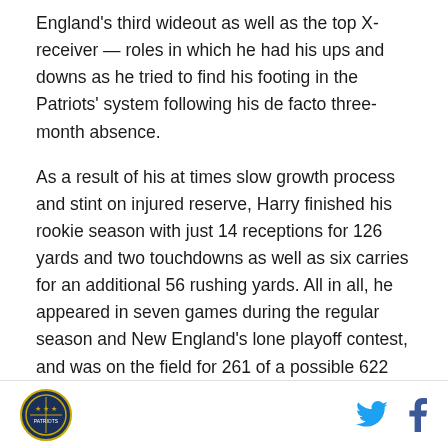England's third wideout as well as the top X-receiver — roles in which he had his ups and downs as he tried to find his footing in the Patriots' system following his de facto three-month absence.
As a result of his at times slow growth process and stint on injured reserve, Harry finished his rookie season with just 14 receptions for 126 yards and two touchdowns as well as six carries for an additional 56 rushing yards. All in all, he appeared in seven games during the regular season and New England's lone playoff contest, and was on the field for 261 of a possible 622 offensive snaps after his activation (41.7%). He also saw 14 snaps in the kicking game — all of them on punt return teams — but did not register
[logo] [twitter icon] [facebook icon]